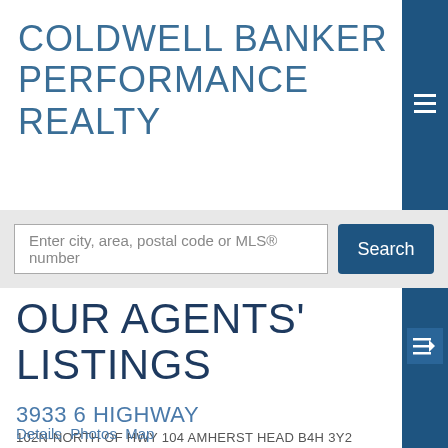COLDWELL BANKER PERFORMANCE REALTY
Enter city, area, postal code or MLS® number
OUR AGENTS' LISTINGS
3933 6 HIGHWAY
102N-NORTH OF HWY 104 AMHERST HEAD B4H 3Y2
$40,000
RESIDENTIAL BEDS: 2 BATHS: 1.0 480 SQ. FT.
SOLD
Details  Photos  Map